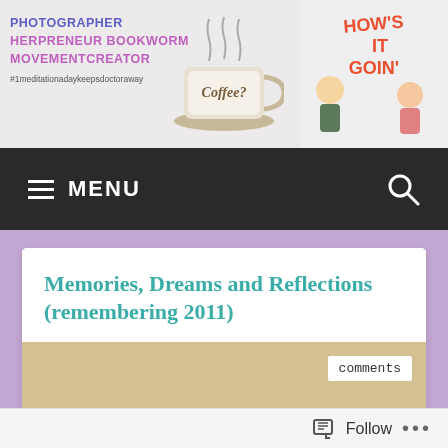PHOTOGRAPHER HERPRENEUR BOOKWORM MOVEMENTCREATOR #1meditationadaykeepsdoctoraway
[Figure (illustration): Blog header banner with cartoon characters, coffee cup logo, and blogger taglines]
MENU (hamburger icon) and search icon on dark navbar
Memories, Dreams and Reflections (remembering 2011)
[Figure (photo): Fortune cookie opened with a paper slip reading 'Memories, Dreams and Reflections 2011', with a 'comments' badge overlay]